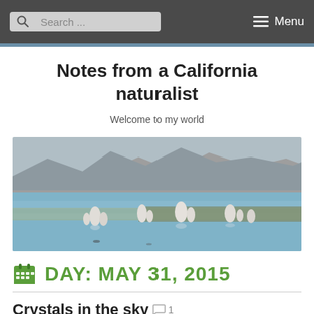Search ... Menu
Notes from a California naturalist
Welcome to my world
[Figure (photo): Mono Lake tufa towers rising from blue water with mountain and shoreline in background]
DAY: MAY 31, 2015
Crystals in the sky 1